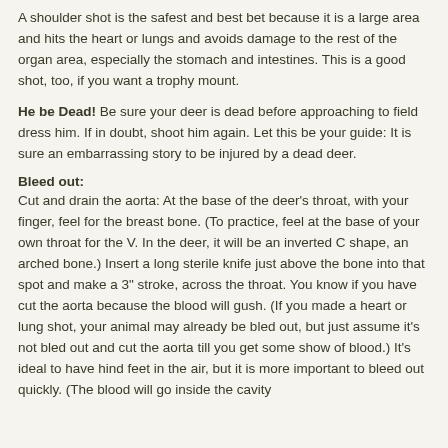A shoulder shot is the safest and best bet because it is a large area and hits the heart or lungs and avoids damage to the rest of the organ area, especially the stomach and intestines. This is a good shot, too, if you want a trophy mount.
He be Dead! Be sure your deer is dead before approaching to field dress him. If in doubt, shoot him again. Let this be your guide: It is sure an embarrassing story to be injured by a dead deer.
Bleed out:
Cut and drain the aorta: At the base of the deer's throat, with your finger, feel for the breast bone. (To practice, feel at the base of your own throat for the V. In the deer, it will be an inverted C shape, an arched bone.) Insert a long sterile knife just above the bone into that spot and make a 3" stroke, across the throat. You know if you have cut the aorta because the blood will gush. (If you made a heart or lung shot, your animal may already be bled out, but just assume it's not bled out and cut the aorta till you get some show of blood.) It's ideal to have hind feet in the air, but it is more important to bleed out quickly. (The blood will go inside the cavity